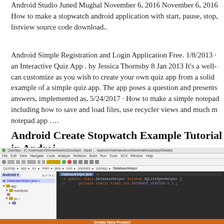Android Studio Juned Mughal November 6, 2016 November 6, 2016 How to make a stopwatch android application with start, pause, stop, listview source code download..
Android Simple Registration and Login Application Free. 1/8/2013 · an Interactive Quiz App . by Jessica Thornsby 8 Jan 2013 It's a well- can customize as you wish to create your own quiz app from a solid example of a simple quiz app. The app poses a question and presents answers, implemented as, 5/24/2017 · How to make a simple notepad including how to save and load files, use recycler views and much m notepad app ….
Android Create Stopwatch Example Tutorial in Androi
[Figure (screenshot): Android Studio IDE screenshot showing QuizApp project with DatabaseHelper.java open, and a 'Create New Project' dialog overlay on a green background with the Android Studio New Project wizard.]